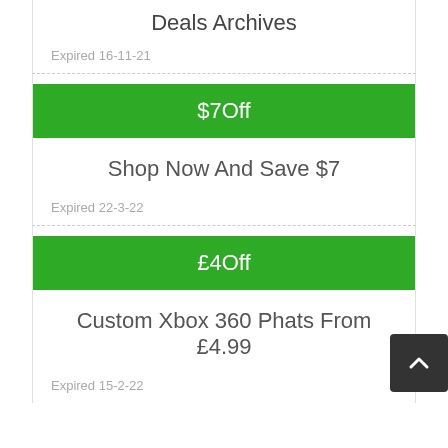Deals Archives
Expired 16-11-21
$70ff
Shop Now And Save $7
Expired 22-3-22
£4Off
Custom Xbox 360 Phats From £4.99
Expired 15-2-22